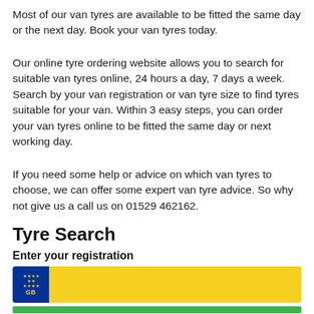Most of our van tyres are available to be fitted the same day or the next day. Book your van tyres today.
Our online tyre ordering website allows you to search for suitable van tyres online, 24 hours a day, 7 days a week. Search by your van registration or van tyre size to find tyres suitable for your van. Within 3 easy steps, you can order your van tyres online to be fitted the same day or next working day.
If you need some help or advice on which van tyres to choose, we can offer some expert van tyre advice. So why not give us a call us on 01529 462162.
Tyre Search
Enter your registration
[Figure (other): UK vehicle registration plate input field with blue EU panel showing stars and GB text on the left, and a yellow input area on the right]